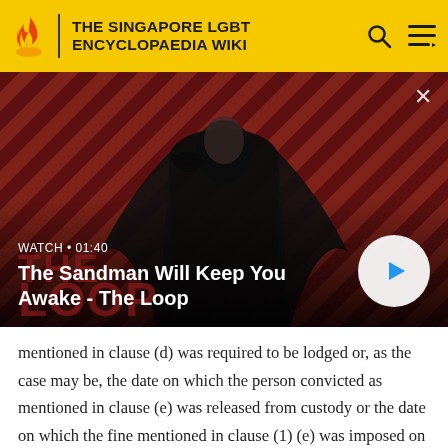THE SINGAPORE LGBT ENCYCLOPAEDIA WIKI
[Figure (screenshot): Video thumbnail showing a dark figure wearing a black cape with a raven on shoulder, against a red and dark diagonal striped background. Text reads: WATCH • 01:40 / The Sandman Will Keep You Awake - The Loop. A play button is shown at the bottom right.]
mentioned in clause (d) was required to be lodged or, as the case may be, the date on which the person convicted as mentioned in clause (e) was released from custody or the date on which the fine mentioned in clause (1) (e) was imposed on such person: